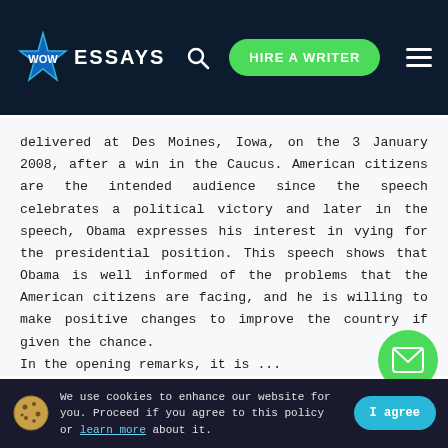WOW ESSAYS — HIRE A WRITER
delivered at Des Moines, Iowa, on the 3 January 2008, after a win in the Caucus. American citizens are the intended audience since the speech celebrates a political victory and later in the speech, Obama expresses his interest in vying for the presidential position. This speech shows that Obama is well informed of the problems that the American citizens are facing, and he is willing to make positive changes to improve the country if given the chance.
In the opening remarks, it is ...
READ MORE
3 Pages
We use cookies to enhance our website for you. Proceed if you agree to this policy or learn more about it.